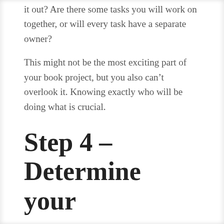it out? Are there some tasks you will work on together, or will every task have a separate owner?
This might not be the most exciting part of your book project, but you also can't overlook it. Knowing exactly who will be doing what is crucial.
Step 4 – Determine your